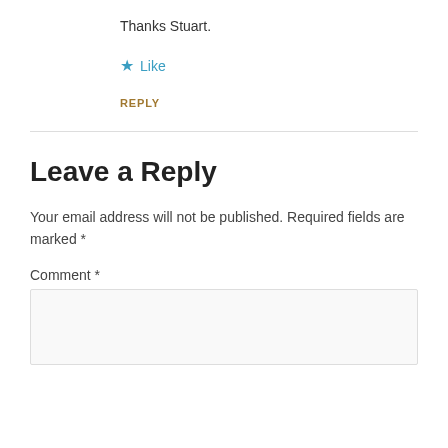Thanks Stuart.
★ Like
REPLY
Leave a Reply
Your email address will not be published. Required fields are marked *
Comment *